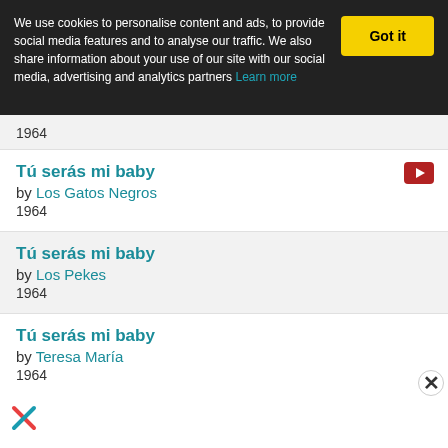We use cookies to personalise content and ads, to provide social media features and to analyse our traffic. We also share information about your use of our site with our social media, advertising and analytics partners Learn more
Tú serás mi baby by Los Gatos Negros 1964
Tú serás mi baby by Los Pekes 1964
Tú serás mi baby by Teresa María 1964
Tú serás mi baby